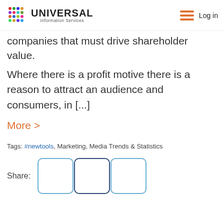Universal Information Services — Log in
it is that one of those things that can make its own companies that must drive shareholder value.
Where there is a profit motive there is a reason to attract an audience and consumers, in [...]
More >
Tags: #newtools, Marketing, Media Trends & Statistics
Share: